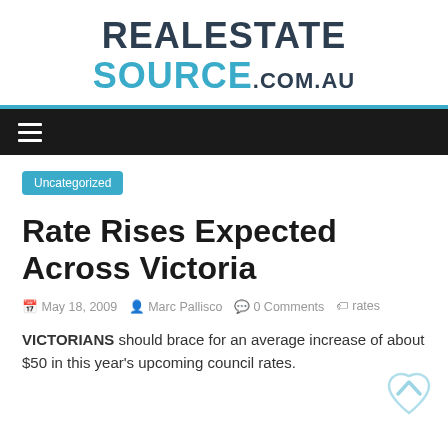REALESTATESOURCE.COM.AU
Uncategorized
Rate Rises Expected Across Victoria
May 18, 2009   Marc Pallisco   0 Comments   rates
VICTORIANS should brace for an average increase of about $50 in this year's upcoming council rates.